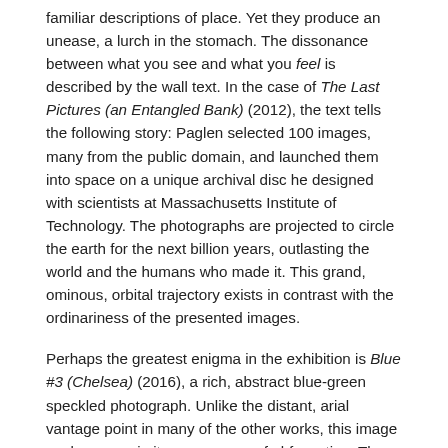familiar descriptions of place. Yet they produce an unease, a lurch in the stomach. The dissonance between what you see and what you feel is described by the wall text. In the case of The Last Pictures (an Entangled Bank) (2012), the text tells the following story: Paglen selected 100 images, many from the public domain, and launched them into space on a unique archival disc he designed with scientists at Massachusetts Institute of Technology. The photographs are projected to circle the earth for the next billion years, outlasting the world and the humans who made it. This grand, ominous, orbital trajectory exists in contrast with the ordinariness of the presented images.
Perhaps the greatest enigma in the exhibition is Blue #3 (Chelsea) (2016), a rich, abstract blue-green speckled photograph. Unlike the distant, arial vantage point in many of the other works, this image explores proximity as a means of obfuscation. The source material is a courtroom sketch from the 2013 trial of Chelsea Manning, a US Army intelligence analyst and whistleblower, who leaked classified documents and was sentenced to 35 years in federal prison. Paglen repeatedly documented the drawing at a granular level with a